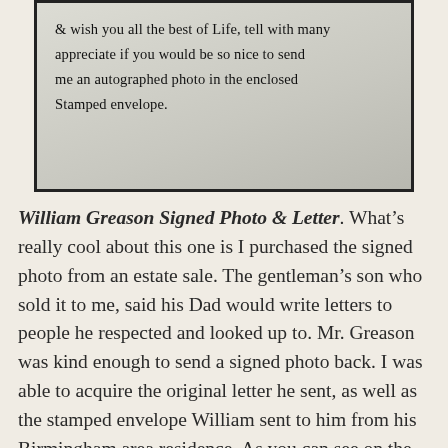[Figure (photo): Photograph of a handwritten note on white paper, partially visible. The handwritten text reads: '& wish you all the best of life, tell with many appreciate if you would be so nice to send me an autographed photo in the enclosed stamped envelope.']
William Greason Signed Photo & Letter. What's really cool about this one is I purchased the signed photo from an estate sale. The gentleman's son who sold it to me, said his Dad would write letters to people he respected and looked up to. Mr. Greason was kind enough to send a signed photo back. I was able to acquire the original letter he sent, as well as the stamped envelope William sent to him from his Birmingham area residence. As you can see on the photo he signed it, “Rev”, Bill as most call